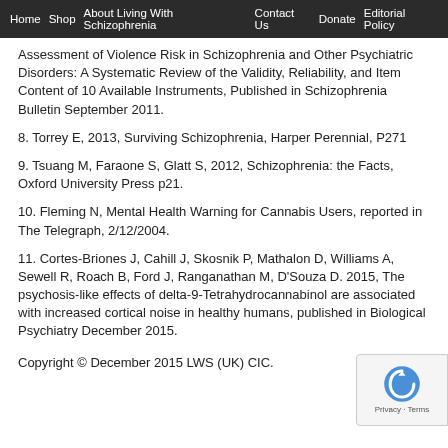Home  Shop  About Living With Schizophrenia  Contact Us  Donate  Editorial Policy
Assessment of Violence Risk in Schizophrenia and Other Psychiatric Disorders: A Systematic Review of the Validity, Reliability, and Item Content of 10 Available Instruments, Published in Schizophrenia Bulletin September 2011.
8. Torrey E, 2013, Surviving Schizophrenia, Harper Perennial, P271
9. Tsuang M, Faraone S, Glatt S, 2012, Schizophrenia: the Facts, Oxford University Press p21.
10. Fleming N, Mental Health Warning for Cannabis Users, reported in The Telegraph, 2/12/2004.
11. Cortes-Briones J, Cahill J, Skosnik P, Mathalon D, Williams A, Sewell R, Roach B, Ford J, Ranganathan M, D'Souza D. 2015, The psychosis-like effects of delta-9-Tetrahydrocannabinol are associated with increased cortical noise in healthy humans, published in Biological Psychiatry December 2015.
Copyright © December 2015 LWS (UK) CIC.